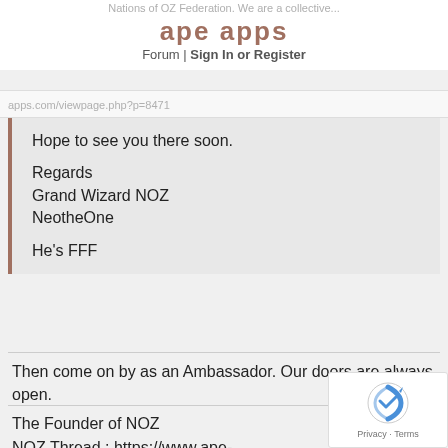Nations of OZ Federation. We are a collective...
ape apps
Forum | Sign In or Register
apps.com/viewpage.php?p=8471
Hope to see you there soon.

Regards
Grand Wizard NOZ
NeotheOne

He's FFF
Then come on by as an Ambassador. Our doors are always open.
The Founder of NOZ
NOZ Thread : https://www.ape-